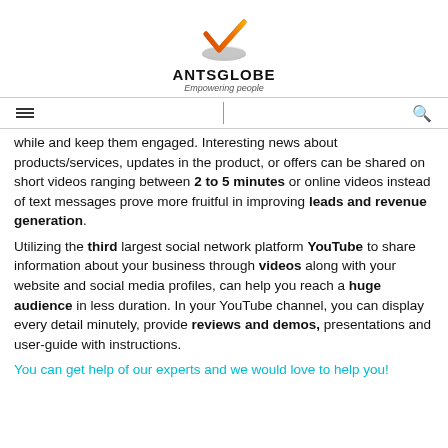[Figure (logo): AntsGlobe logo with orange/red checkmark above a grey disc, brand name ANTSGLOBE in bold black, tagline Empowering people in italic grey]
Navigation bar with hamburger menu icon and search icon
while and keep them engaged. Interesting news about products/services, updates in the product, or offers can be shared on short videos ranging between 2 to 5 minutes or online videos instead of text messages prove more fruitful in improving leads and revenue generation.
Utilizing the third largest social network platform YouTube to share information about your business through videos along with your website and social media profiles, can help you reach a huge audience in less duration. In your YouTube channel, you can display every detail minutely, provide reviews and demos, presentations and user-guide with instructions.
You can get help of our experts and we would love to help you!